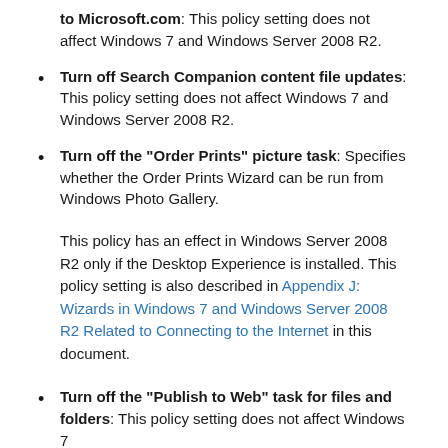to Microsoft.com: This policy setting does not affect Windows 7 and Windows Server 2008 R2.
Turn off Search Companion content file updates: This policy setting does not affect Windows 7 and Windows Server 2008 R2.
Turn off the "Order Prints" picture task: Specifies whether the Order Prints Wizard can be run from Windows Photo Gallery.
This policy has an effect in Windows Server 2008 R2 only if the Desktop Experience is installed. This policy setting is also described in Appendix J: Wizards in Windows 7 and Windows Server 2008 R2 Related to Connecting to the Internet in this document.
Turn off the "Publish to Web" task for files and folders: This policy setting does not affect Windows 7